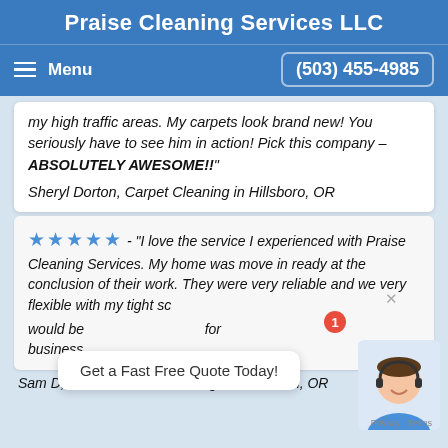Praise Cleaning Services LLC
Menu    (503) 455-4985
my high traffic areas. My carpets look brand new! You seriously have to see him in action! Pick this company – ABSOLUTELY AWESOME!!"
Sheryl Dorton, Carpet Cleaning in Hillsboro, OR
★★★★★ - "I love the service I experienced with Praise Cleaning Services. My home was move in ready at the conclusion of their work. They were very reliable and we very flexible with my tight schedule. I would be recommending this for my family friends and business…"
Sam D, Move In & Out Cleaning in Beaverton, OR
Get a Fast Free Quote Today!